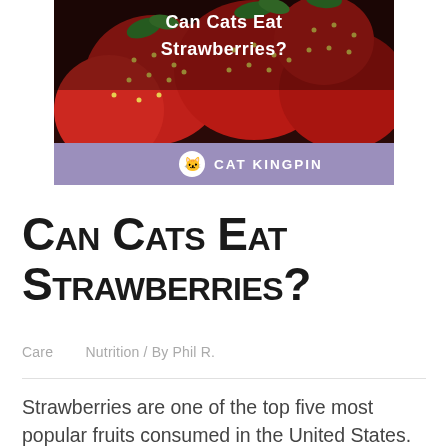[Figure (photo): Hero image showing red strawberries close-up with a purple banner at the bottom reading 'Cat Kingpin' with logo, and white bold text overlay reading 'Can Cats Eat Strawberries?']
Can Cats Eat Strawberries?
Care   Nutrition / By Phil R.
Strawberries are one of the top five most popular fruits consumed in the United States. Just look at all the different